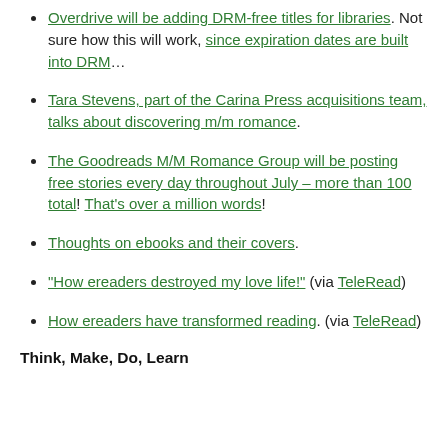Overdrive will be adding DRM-free titles for libraries. Not sure how this will work, since expiration dates are built into DRM…
Tara Stevens, part of the Carina Press acquisitions team, talks about discovering m/m romance.
The Goodreads M/M Romance Group will be posting free stories every day throughout July – more than 100 total! That's over a million words!
Thoughts on ebooks and their covers.
"How ereaders destroyed my love life!" (via TeleRead)
How ereaders have transformed reading. (via TeleRead)
Think, Make, Do, Learn